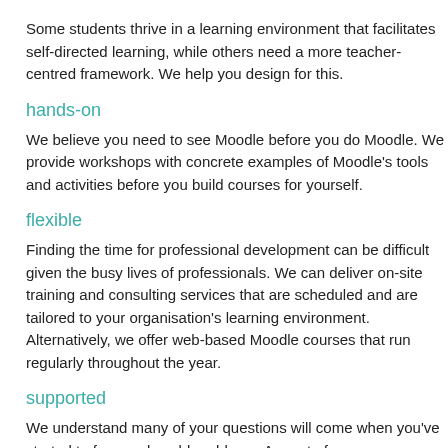Some students thrive in a learning environment that facilitates self-directed learning, while others need a more teacher-centred framework. We help you design for this.
hands-on
We believe you need to see Moodle before you do Moodle. We provide workshops with concrete examples of Moodle's tools and activities before you build courses for yourself.
flexible
Finding the time for professional development can be difficult given the busy lives of professionals. We can deliver on-site training and consulting services that are scheduled and are tailored to your organisation's learning environment. Alternatively, we offer web-based Moodle courses that run regularly throughout the year.
supported
We understand many of your questions will come when you've started to face real world problems. As part of our programmes, we offer ongoing telephon...